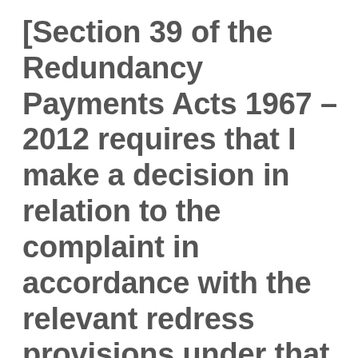[Section 39 of the Redundancy Payments Acts 1967 – 2012 requires that I make a decision in relation to the complaint in accordance with the relevant redress provisions under that Act.